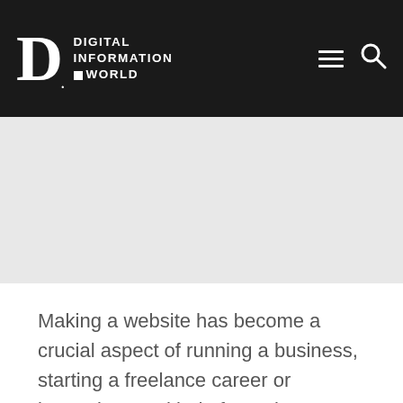DIGITAL INFORMATION WORLD
[Figure (illustration): Gray advertisement/banner placeholder area below the header navigation bar]
Making a website has become a crucial aspect of running a business, starting a freelance career or becoming any kind of creative professional. This has understandably resulted in a bit of a boost with regards to things like web hosting which has now become a pretty massive industry with all things having been considered and taken into account. Just like everything